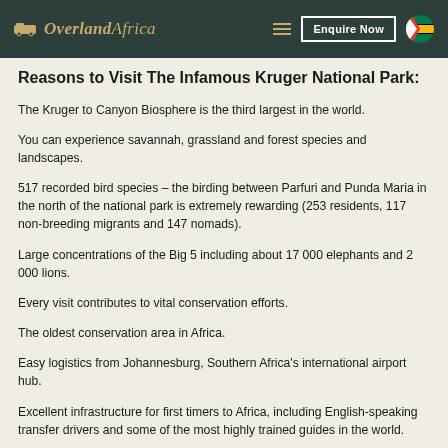OverlandAfrica | Enquire Now
Reasons to Visit The Infamous Kruger National Park:
The Kruger to Canyon Biosphere is the third largest in the world.
You can experience savannah, grassland and forest species and landscapes.
517 recorded bird species – the birding between Parfuri and Punda Maria in the north of the national park is extremely rewarding (253 residents, 117 non-breeding migrants and 147 nomads).
Large concentrations of the Big 5 including about 17 000 elephants and 2 000 lions.
Every visit contributes to vital conservation efforts.
The oldest conservation area in Africa.
Easy logistics from Johannesburg, Southern Africa's international airport hub.
Excellent infrastructure for first timers to Africa, including English-speaking transfer drivers and some of the most highly trained guides in the world.
Best Time of the Year to Go to Kruger
The safari is controlled by rainfall. The Kruger falls in the